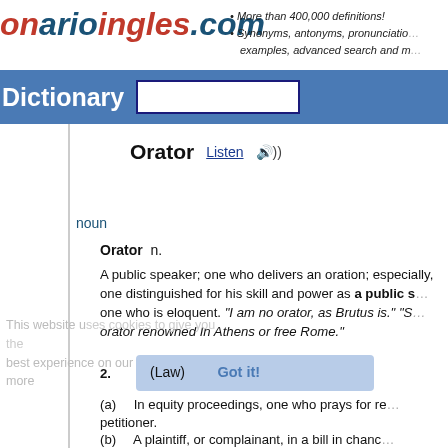onarioingles.com • More than 400,000 definitions! • Synonyms, antonyms, pronunciation, examples, advanced search and more
Dictionary
Orator  Listen
noun
Orator n.
A public speaker; one who delivers an oration; especially, one distinguished for his skill and power as a public speaker; one who is eloquent. "I am no orator, as Brutus is." "Some orator renowned In Athens or free Rome."
2. (Law)
(a) In equity proceedings, one who prays for relief; petitioner.
(b) A plaintiff, or complainant, in a bill in chancery.